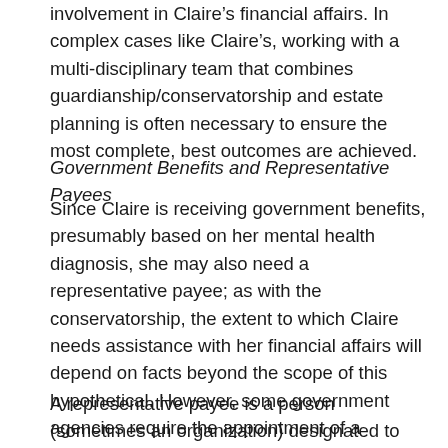involvement in Claire's financial affairs. In complex cases like Claire's, working with a multi-disciplinary team that combines guardianship/conservatorship and estate planning is often necessary to ensure the most complete, best outcomes are achieved.
Government Benefits and Representative Payees
Since Claire is receiving government benefits, presumably based on her mental health diagnosis, she may also need a representative payee; as with the conservatorship, the extent to which Claire needs assistance with her financial affairs will depend on facts beyond the scope of this hypothetical. However, some government agencies require the appointment of a representative payee for certain benefits. This is another area of Claire's needs where good counsel will go a long way.
A representative payee is a person (sometimes an organization) designated to receive government benefits, i.e. Social Security benefits for...